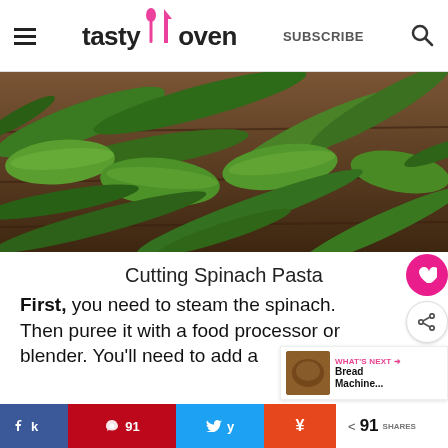tasty oven | SUBSCRIBE
[Figure (photo): Green snap peas and green beans on a wooden cutting board, photographed from above.]
Cutting Spinach Pasta
First, you need to steam the spinach. Then puree it with a food processor or blender. You'll need to add a
[Figure (other): What's Next widget showing Bread Machine... link with thumbnail]
k Share  |  Pin 91  |  Tweet  |  ¥  |  < 91 SHARES